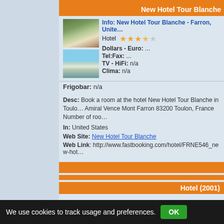New Hotel Tour Blanche
[Figure (photo): Photo of hotel building exterior with trees]
[Figure (photo): Photo of hotel pool area]
Info: New Hotel Tour Blanche - Farron, United States
Hotel ★★★☆☆
Dollars - Euro: ...
Tel:Fax: ...
TV - HiFi: n/a
Clima: n/a
Frigobar: n/a
Desc: Book a room at the hotel New Hotel Tour Blanche in Toulon... Amiral Vence Mont Farron 83200 Toulon, France Number of rooms...
In: United States
Web Site: New Hotel Tour Blanche
Web Link: http://www.fastbooking.com/hotel/FRNE546_new-hot...
Hotel (2001)
We use cookies to track usage and preferences. OK